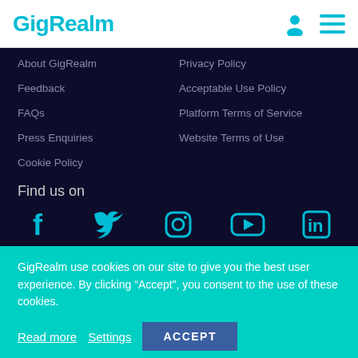GigRealm
About GigRealm
Privacy Policy
Feedback
Acceptable Use Policy
FAQs
Platform Terms of Service
Press Enquiries
Website Terms of Use
Cookie Policy
Find us on
[Figure (infographic): Social media icons: Facebook, Twitter, Instagram, YouTube, LinkedIn]
GigRealm use cookies on our site to give you the best user experience. By clicking “Accept”, you consent to the use of these cookies.
Read more   Settings   ACCEPT